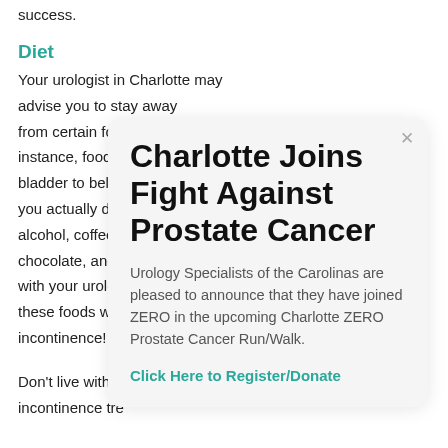success.
Diet
Your urologist in Charlotte may advise you to stay away from certain foo... instance, foods b... bladder to belie... you actually do h... alcohol, coffee, p... chocolate, and s... with your urolog... these foods wou... incontinence!
Charlotte Joins Fight Against Prostate Cancer
Urology Specialists of the Carolinas are pleased to announce that they have joined ZERO in the upcoming Charlotte ZERO Prostate Cancer Run/Walk.
Click Here to Register/Donate
Don't live with th... incontinence tre...